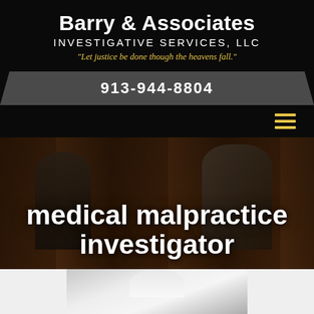Barry & Associates INVESTIGATIVE SERVICES, LLC
"Let justice be done though the heavens fall."
913-944-8804
[Figure (photo): Hamburger menu icon with three yellow/gold horizontal lines on black background]
[Figure (photo): Dark atmospheric photo of investigators/people in a brick room background, overlaid with white bold text reading 'medical malpractice investigator']
medical malpractice investigator
[Figure (photo): Partial view of a person in a white coat (doctor), cropped at the bottom of the page]